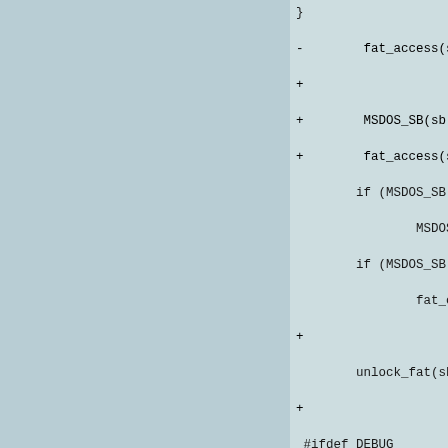Code diff showing changes to FAT filesystem functions including fat_access, MSDOS_SB, fat_clusters_flush, unlock_fat, and related cache operations